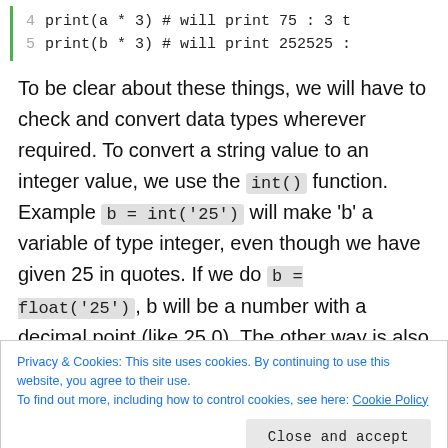4   print(a * 3) # will print 75 : 3 t
5   print(b * 3) # will print 252525 :
To be clear about these things, we will have to check and convert data types wherever required. To convert a string value to an integer value, we use the int() function. Example b = int('25') will make 'b' a variable of type integer, even though we have given 25 in quotes. If we do b = float('25'), b will be a number with a decimal point (like 25.0). The other way is also possible where you convert a number into a string – b = str(25) will make b a
Privacy & Cookies: This site uses cookies. By continuing to use this website, you agree to their use.
To find out more, including how to control cookies, see here: Cookie Policy
Close and accept